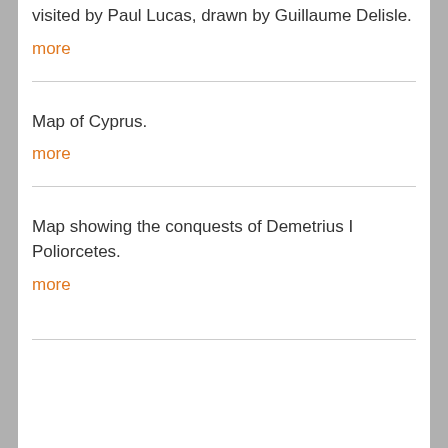visited by Paul Lucas, drawn by Guillaume Delisle.
more
Map of Cyprus.
more
Map showing the conquests of Demetrius I Poliorcetes.
more